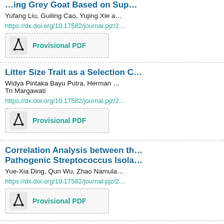…ing Grey Goat Based on Sup…
Yufang Liu, Guiling Cao, Yujing Xie a…
https://dx.doi.org/10.17582/journal.pjz/2…
[Figure (other): Provisional PDF button with acrobat-style icon]
Litter Size Trait as a Selection C…
Widya Pintaka Bayu Putra, Herman … Tri Margawati
https://dx.doi.org/10.17582/journal.pjz/2…
[Figure (other): Provisional PDF button with acrobat-style icon]
Correlation Analysis between th… Pathogenic Streptococcus Isola…
Yue-Xia Ding, Qun Wu, Zhao Namula…
https://dx.doi.org/10.17582/journal.pjz/2…
[Figure (other): Provisional PDF button with acrobat-style icon]